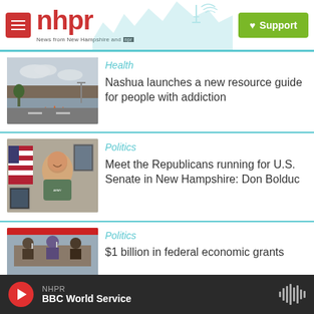[Figure (screenshot): NHPR website header with red menu button, nhpr logo in red, tagline 'News from New Hampshire and NPR', skyline illustration in teal, and green Support button with heart icon]
[Figure (photo): Street scene in Nashua, NH with road cones and traffic]
Health
Nashua launches a new resource guide for people with addiction
[Figure (photo): Man in military-style t-shirt smiling, standing in front of American flag and framed photos on wall — Don Bolduc]
Politics
Meet the Republicans running for U.S. Senate in New Hampshire: Don Bolduc
[Figure (photo): People seated at a table at what appears to be a government or community meeting]
Politics
$1 billion in federal economic grants
NHPR BBC World Service